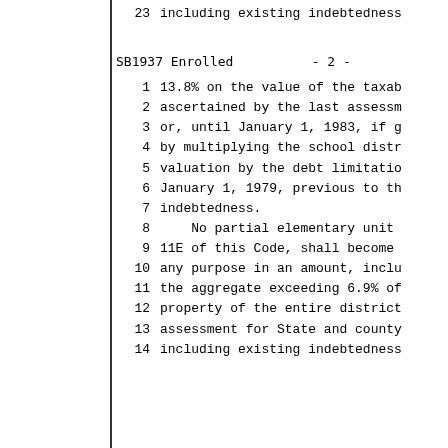23    including existing indebtedness
SB1937 Enrolled          - 2 -
1    13.8% on the value of the taxab
2    ascertained by the last assessm
3    or, until January 1, 1983, if g
4    by multiplying the school distr
5    valuation by the debt limitatio
6    January 1, 1979, previous to th
7    indebtedness.
8        No partial elementary unit
9    11E of this Code, shall become
10   any purpose in an amount, inclu
11   the aggregate exceeding 6.9% of
12   property of the entire district
13   assessment for State and county
14   including existing indebtedness